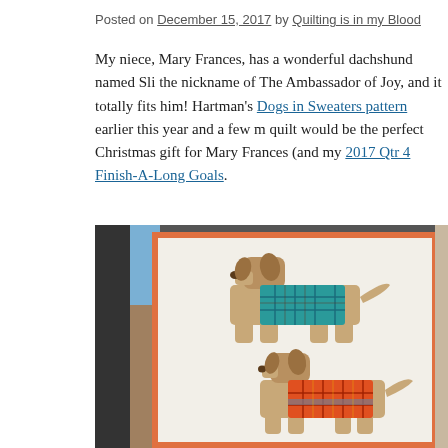Posted on December 15, 2017 by Quilting is in my Blood
My niece, Mary Frances, has a wonderful dachshund named Sli the nickname of The Ambassador of Joy, and it totally fits him! Hartman's Dogs in Sweaters pattern earlier this year and a few m quilt would be the perfect Christmas gift for Mary Frances (and my 2017 Qtr 4 Finish-A-Long Goals.
[Figure (photo): A quilt featuring two appliqued dachshund dogs wearing plaid sweaters — one teal/blue plaid and one orange/red plaid — displayed against a white quilted background with a colorful orange border. The photo is taken outdoors.]